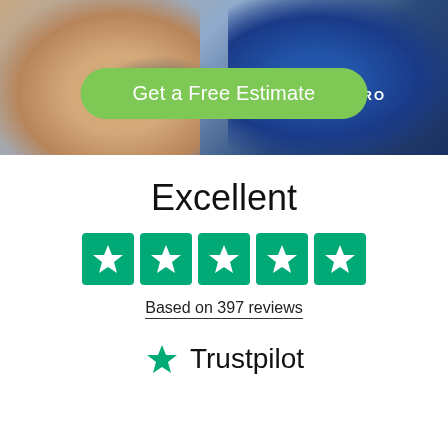[Figure (photo): Background photo of a cleaning professional (JAN-PRO) with bare arm visible and blue uniform shirt, with a green rounded button overlay reading 'Get a Free Estimate']
Excellent
[Figure (other): Five green star rating boxes (Trustpilot style) — all five filled green with white stars]
Based on 397 reviews
[Figure (logo): Trustpilot logo — green star icon followed by 'Trustpilot' text in dark color]